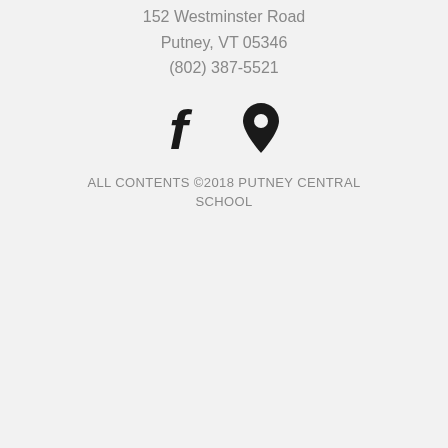152 Westminster Road
Putney, VT 05346
(802) 387-5521
[Figure (illustration): Facebook icon (f) and map pin/location icon side by side]
ALL CONTENTS ©2018 PUTNEY CENTRAL SCHOOL